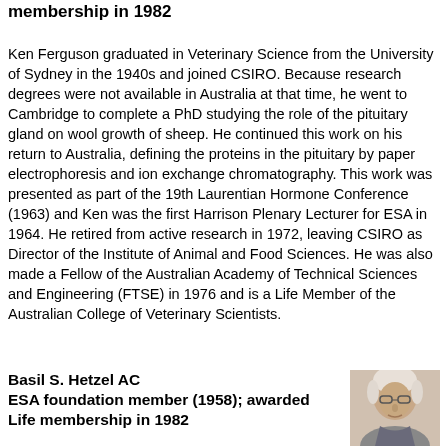membership in 1982
Ken Ferguson graduated in Veterinary Science from the University of Sydney in the 1940s and joined CSIRO. Because research degrees were not available in Australia at that time, he went to Cambridge to complete a PhD studying the role of the pituitary gland on wool growth of sheep. He continued this work on his return to Australia, defining the proteins in the pituitary by paper electrophoresis and ion exchange chromatography. This work was presented as part of the 19th Laurentian Hormone Conference (1963) and Ken was the first Harrison Plenary Lecturer for ESA in 1964. He retired from active research in 1972, leaving CSIRO as Director of the Institute of Animal and Food Sciences. He was also made a Fellow of the Australian Academy of Technical Sciences and Engineering (FTSE) in 1976 and is a Life Member of the Australian College of Veterinary Scientists.
Basil S. Hetzel AC
ESA foundation member (1958); awarded Life membership in 1982
[Figure (photo): Black and white portrait photo of an elderly man with glasses]